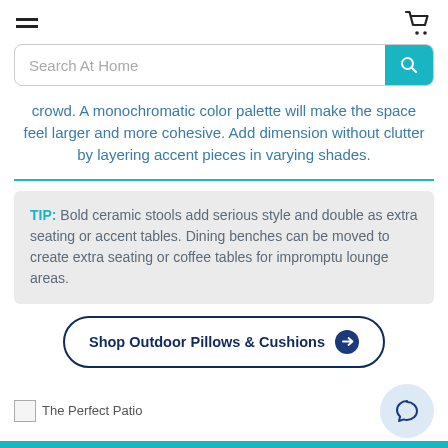Navigation header with hamburger menu and cart icon
Search At Home
crowd. A monochromatic color palette will make the space feel larger and more cohesive. Add dimension without clutter by layering accent pieces in varying shades.
TIP: Bold ceramic stools add serious style and double as extra seating or accent tables. Dining benches can be moved to create extra seating or coffee tables for impromptu lounge areas.
Shop Outdoor Pillows & Cushions
The Perfect Patio